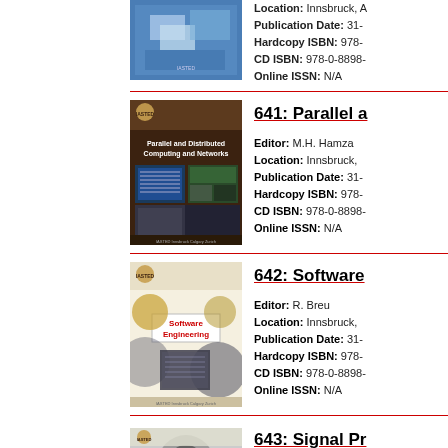[Figure (photo): Book cover for first entry (partially visible at top)]
Location: Innsbruck, A
Publication Date: 31-
Hardcopy ISBN: 978-
CD ISBN: 978-0-8898-
Online ISSN: N/A
[Figure (photo): Book cover for 641: Parallel and Distributed Computing and Networks]
641: Parallel a
Editor: M.H. Hamza
Location: Innsbruck, A
Publication Date: 31-
Hardcopy ISBN: 978-
CD ISBN: 978-0-8898-
Online ISSN: N/A
[Figure (photo): Book cover for 642: Software Engineering]
642: Software
Editor: R. Breu
Location: Innsbruck, A
Publication Date: 31-
Hardcopy ISBN: 978-
CD ISBN: 978-0-8898-
Online ISSN: N/A
[Figure (photo): Book cover for 643: Signal Processing (partially visible)]
643: Signal Pr